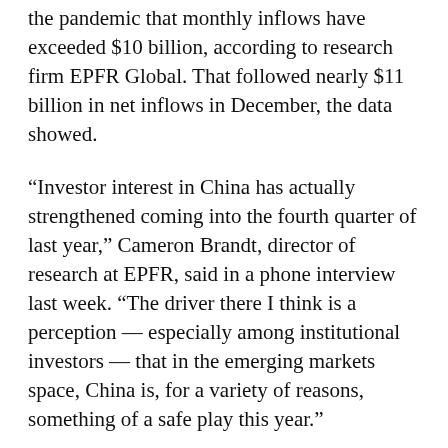the pandemic that monthly inflows have exceeded $10 billion, according to research firm EPFR Global. That followed nearly $11 billion in net inflows in December, the data showed.
“Investor interest in China has actually strengthened coming into the fourth quarter of last year,” Cameron Brandt, director of research at EPFR, said in a phone interview last week. “The driver there I think is a perception — especially among institutional investors — that in the emerging markets space, China is, for a variety of reasons, something of a safe play this year.”
The latest wave of buying is from institutions, rather than retail investors whose interest in China dropped off since early last year, Brandt said.